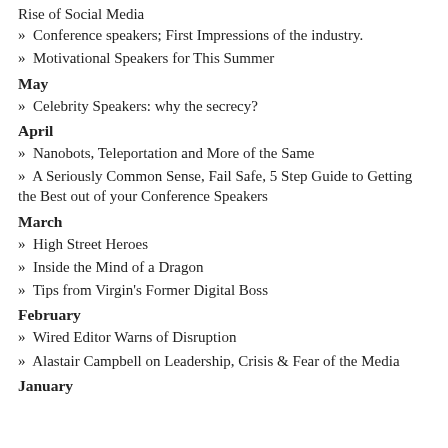Rise of Social Media
» Conference speakers; First Impressions of the industry.
» Motivational Speakers for This Summer
May
» Celebrity Speakers: why the secrecy?
April
» Nanobots, Teleportation and More of the Same
» A Seriously Common Sense, Fail Safe, 5 Step Guide to Getting the Best out of your Conference Speakers
March
» High Street Heroes
» Inside the Mind of a Dragon
» Tips from Virgin's Former Digital Boss
February
» Wired Editor Warns of Disruption
» Alastair Campbell on Leadership, Crisis & Fear of the Media
January